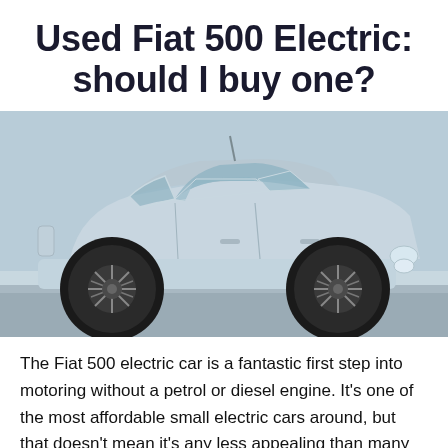Used Fiat 500 Electric: should I buy one?
[Figure (photo): Side profile photo of a light blue/grey Fiat 500 Electric car parked outdoors against a light grey sky background. The car has distinctive multi-spoke alloy wheels and a modern hatchback silhouette.]
The Fiat 500 electric car is a fantastic first step into motoring without a petrol or diesel engine. It's one of the most affordable small electric cars around, but that doesn't mean it's any less appealing than many of the